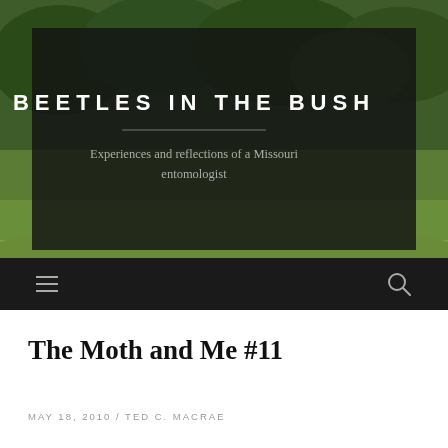[Figure (photo): Green landscape background with trees and grass, partially obscured by a dark semi-transparent overlay containing the blog title and tagline]
BEETLES IN THE BUSH
Experiences and reflections of a Missouri entomologist
navigation bar with hamburger menu and search icon
The Moth and Me #11
MAY 18, 2010 / TED C. MACRAE